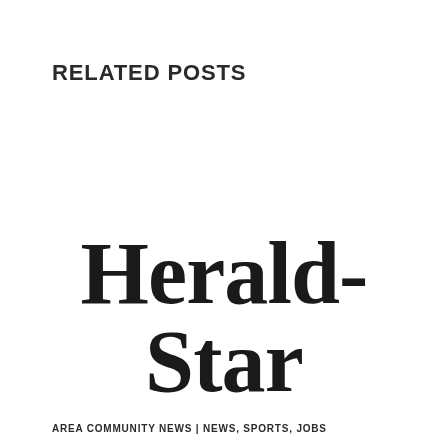RELATED POSTS
[Figure (logo): Herald-Star newspaper logo in large bold serif font]
AREA COMMUNITY NEWS | NEWS, SPORTS, JOBS